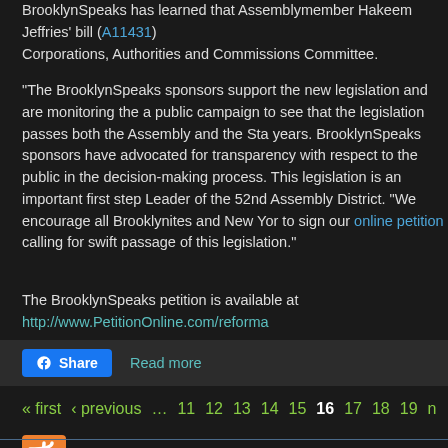BrooklynSpeaks has learned that Assemblymember Hakeem Jeffries' bill (A11431) Corporations, Authorities and Commissions Committee.
“The BrooklynSpeaks sponsors support the new legislation and are monitoring the a public campaign to see that the legislation passes both the Assembly and the Sta years. BrooklynSpeaks sponsors have advocated for transparency with respect to the public in the decision-making process. This legislation is an important first step Leader of the 52nd Assembly District. “We encourage all Brooklynites and New Yor to sign our online petition calling for swift passage of this legislation.”
The BrooklynSpeaks petition is available at http://www.PetitionOnline.com/reforma
Share  Read more
« first  ‹ previous  …  11  12  13  14  15  16  17  18  19  n